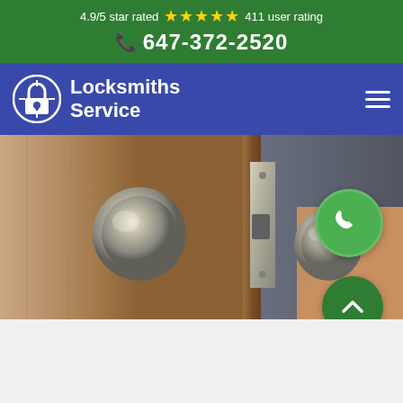4.9/5 star rated ★★★★★ 411 user rating
☎ 647-372-2520
[Figure (logo): Locksmiths Service logo with lock icon on blue/indigo navigation bar with hamburger menu]
[Figure (photo): Photo of door knob/lock being installed or handled by a hand, with green phone call button and green scroll-up button overlaid]